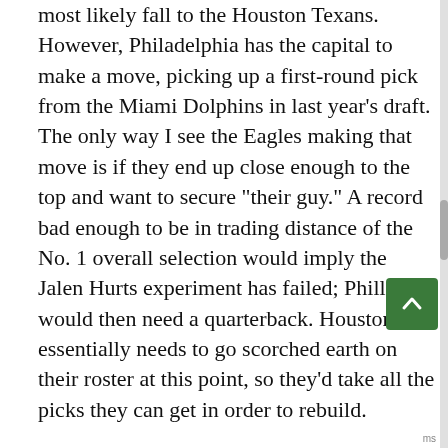most likely fall to the Houston Texans. However, Philadelphia has the capital to make a move, picking up a first-round pick from the Miami Dolphins in last year's draft. The only way I see the Eagles making that move is if they end up close enough to the top and want to secure "their guy." A record bad enough to be in trading distance of the No. 1 overall selection would imply the Jalen Hurts experiment has failed; Philly would then need a quarterback. Houston essentially needs to go scorched earth on their roster at this point, so they'd take all the picks they can get in order to rebuild.
Derrik Klassen: The Houston Texans select Spencer Rattler, QB, Oklahoma. Rattler did not look so hot in the opener against Tulane, but he didn't start off last season too hot either before really taking off over the second half of the year. Between Rattler's